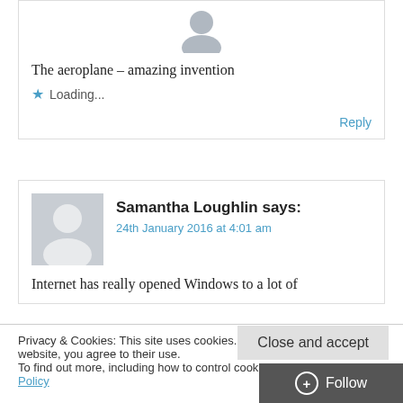[Figure (illustration): Gray avatar/profile placeholder silhouette at top of first comment block]
The aeroplane – amazing invention
★ Loading...
Reply
[Figure (illustration): Gray avatar/profile placeholder silhouette for Samantha Loughlin]
Samantha Loughlin says:
24th January 2016 at 4:01 am
Internet has really opened Windows to a lot of
Privacy & Cookies: This site uses cookies. By continuing to use this website, you agree to their use.
To find out more, including how to control cookies, see here: Cookie Policy
Close and accept
+ Follow